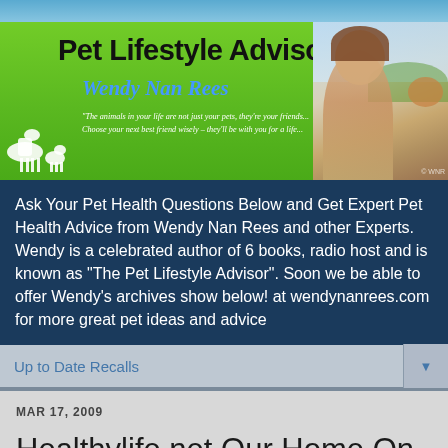[Figure (illustration): Pet Lifestyle Advisor website banner with green background, logo text, Wendy Nan Rees name, tagline, animal silhouettes, and photo of woman with dog]
Ask Your Pet Health Questions Below and Get Expert Pet Health Advice from Wendy Nan Rees and other Experts. Wendy is a celebrated author of 6 books, radio host and is known as "The Pet Lifestyle Advisor". Soon we be able to offer Wendy's archives show below! at wendynanrees.com for more great pet ideas and advice
Up to Date Recalls
MAR 17, 2009
Healthylife.net Our Home On The Net Has Some Great News